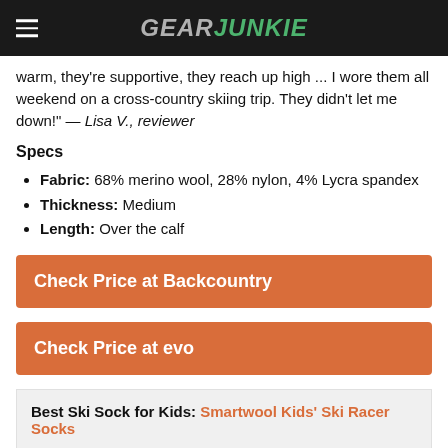GEAR JUNKIE
warm, they're supportive, they reach up high ... I wore them all weekend on a cross-country skiing trip. They didn't let me down!" — Lisa V., reviewer
Specs
Fabric: 68% merino wool, 28% nylon, 4% Lycra spandex
Thickness: Medium
Length: Over the calf
Check Price at Backcountry
Check Price at evo
Best Ski Sock for Kids: Smartwool Kids' Ski Racer Socks
[Figure (photo): Partial product images of ski socks at bottom of page]